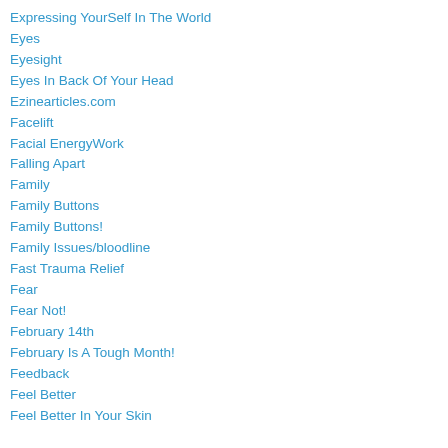Expressing YourSelf In The World
Eyes
Eyesight
Eyes In Back Of Your Head
Ezinearticles.com
Facelift
Facial EnergyWork
Falling Apart
Family
Family Buttons
Family Buttons!
Family Issues/bloodline
Fast Trauma Relief
Fear
Fear Not!
February 14th
February Is A Tough Month!
Feedback
Feel Better
Feel Better In Your Skin